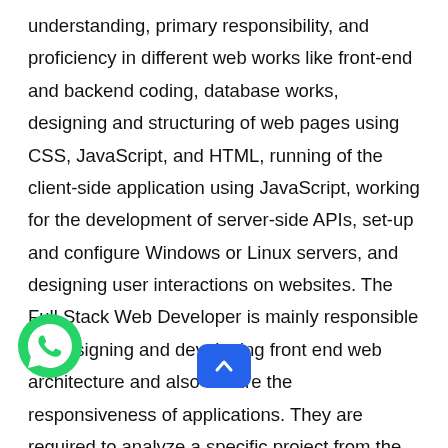understanding, primary responsibility, and proficiency in different web works like front-end and backend coding, database works, designing and structuring of web pages using CSS, JavaScript, and HTML, running of the client-side application using JavaScript, working for the development of server-side APIs, set-up and configure Windows or Linux servers, and designing user interactions on websites. The Full Stack Web Developer is mainly responsible for designing and developing front end web architecture and also ensure the responsiveness of applications. They are required to analyze a specific project from the roots of conception to a final product. let's go deeper into the list of Full Stack Web Developer key roles and responsibilities:
[Figure (logo): WhatsApp icon - green circle with white phone handset]
[Figure (other): Blue rounded rectangle scroll-to-top button with upward chevron]